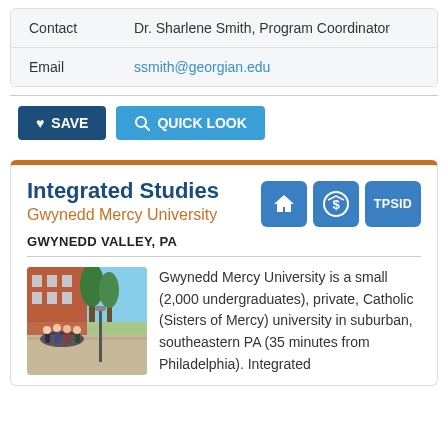Contact: Dr. Sharlene Smith, Program Coordinator
Email: ssmith@georgian.edu
SAVE  QUICK LOOK
Integrated Studies
Gwynedd Mercy University
GWYNEDD VALLEY, PA
[Figure (photo): Group of students on a campus patio with trees and brick building in background]
Gwynedd Mercy University is a small (2,000 undergraduates), private, Catholic (Sisters of Mercy) university in suburban, southeastern PA (35 minutes from Philadelphia). Integrated